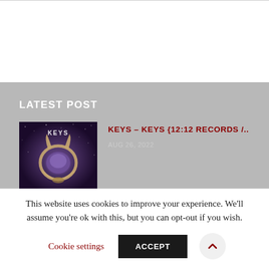LATEST POST
[Figure (photo): Album cover for KEYS showing a ring-like artifact with horns against a dark purple starry background, with the word KEYS visible at top]
KEYS – KEYS {12:12 RECORDS /..
AUG 26, 2022
This website uses cookies to improve your experience. We'll assume you're ok with this, but you can opt-out if you wish.
Cookie settings   ACCEPT